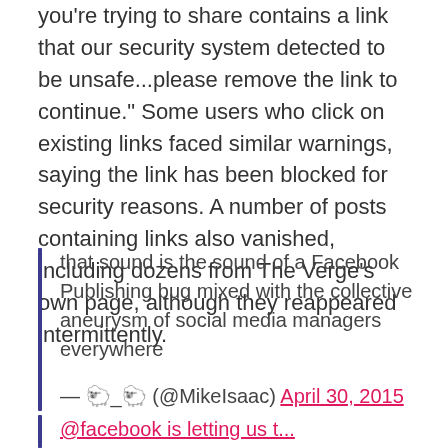you're trying to share contains a link that our security system detected to be unsafe...please remove the link to continue." Some users who click on existing links faced similar warnings, saying the link has been blocked for security reasons. A number of posts containing links also vanished, including dozens from The Verge's own page, although they reappeared intermittently.
that sound is the sound of a Facebook Publishing bug mixed with the collective aneurysm of social media managers everywhere
— 🐑_🐑 (@MikeIsaac) April 30, 2015
@facebook is letting us t...